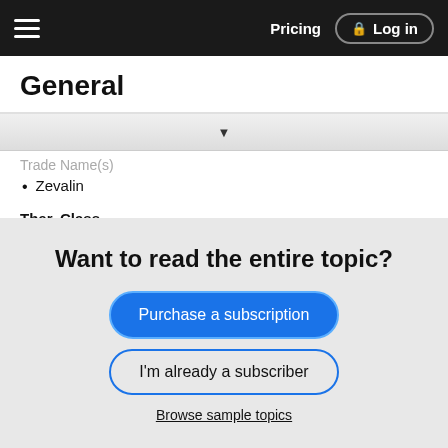Pricing  Log in
General
Trade Name(s)
Zevalin
Ther. Class.
antineoplastics
Pharm. Class.
monoclonal antibodies
radioisotopes
Want to read the entire topic?
Purchase a subscription
I'm already a subscriber
Browse sample topics